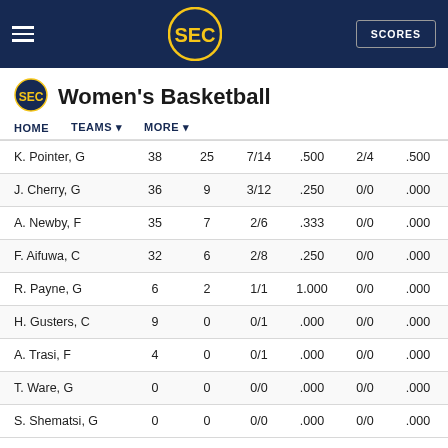SEC Women's Basketball
Women's Basketball
| Player | MIN | PTS | FG | FG% | 3P | 3P% | FT | FT% |
| --- | --- | --- | --- | --- | --- | --- | --- | --- |
| K. Pointer, G | 38 | 25 | 7/14 | .500 | 2/4 | .500 | 9/10 | .900 |
| J. Cherry, G | 36 | 9 | 3/12 | .250 | 0/0 | .000 | 3/4 | .750 |
| A. Newby, F | 35 | 7 | 2/6 | .333 | 0/0 | .000 | 3/4 | .750 |
| F. Aifuwa, C | 32 | 6 | 2/8 | .250 | 0/0 | .000 | 2/2 | 1.000 |
| R. Payne, G | 6 | 2 | 1/1 | 1.000 | 0/0 | .000 | 0/0 | .000 |
| H. Gusters, C | 9 | 0 | 0/1 | .000 | 0/0 | .000 | 0/0 | .000 |
| A. Trasi, F | 4 | 0 | 0/1 | .000 | 0/0 | .000 | 0/2 | .000 |
| T. Ware, G | 0 | 0 | 0/0 | .000 | 0/0 | .000 | 0/0 | .000 |
| S. Shematsi, G | 0 | 0 | 0/0 | .000 | 0/0 | .000 | 0/0 | .000 |